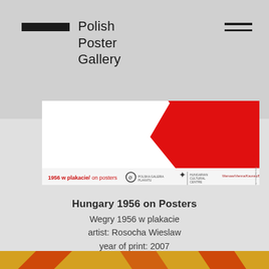Polish Poster Gallery
[Figure (photo): Horizontal poster image for 'Hungary 1956 on Posters' (1956 w plakacie/on posters) showing a large diagonal red stripe on white background with exhibition text and logos at bottom]
Hungary 1956 on Posters
Wegry 1956 w plakacie
artist: Rosocha Wieslaw
year of print: 2007
price: EUR 23
see more >